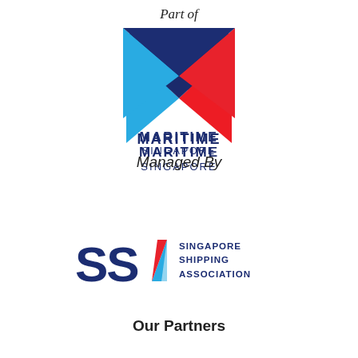Part of
[Figure (logo): Maritime Singapore logo — geometric M shape made of blue, dark navy and red triangular segments, with text MARITIME SINGAPORE below in dark navy, bold uppercase]
Managed By
[Figure (logo): Singapore Shipping Association logo — SSA letters in dark navy bold with a blue and red triangular A graphic, followed by text SINGAPORE SHIPPING ASSOCIATION in dark navy uppercase]
Our Partners